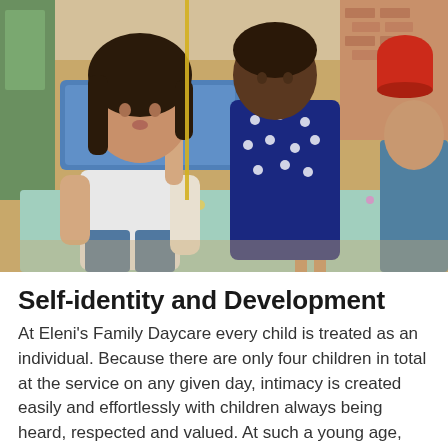[Figure (photo): Two young children playing at a table in a daycare setting. A girl with long dark hair in a white shirt is on the left, and a child in a dark blue polka dot outfit is in the center-right. There is a baby doll on the table and colorful play materials. The background shows a bright outdoor/indoor daycare environment with brick walls and colorful items.]
Self-identity and Development
At Eleni's Family Daycare every child is treated as an individual. Because there are only four children in total at the service on any given day, intimacy is created easily and effortlessly with children always being heard, respected and valued. At such a young age, being an important member of a small group is beneficial to children's sense of self-identity and